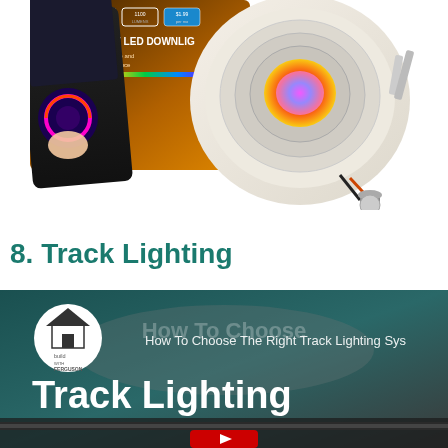[Figure (photo): Smart LED downlight product photo showing a colorful RGB recessed light fixture with an app-controlled smartphone, a product box with specifications (5"/6", 1100 lumens, SMART LED DOWNLIGHT, Tunable white and color ambiance), and the light with an E26 bulb adapter.]
8. Track Lighting
[Figure (screenshot): Video thumbnail from 'Build with Ferguson' YouTube channel showing 'How To Choose The Right Track Lighting System' with large white text 'Track Lighting' on a dark teal/grey background, a white circular logo, and a red YouTube play button partially visible at the bottom.]